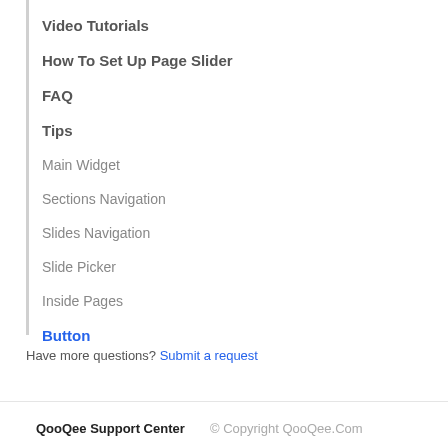Video Tutorials
How To Set Up Page Slider
FAQ
Tips
Main Widget
Sections Navigation
Slides Navigation
Slide Picker
Inside Pages
Button
Have more questions? Submit a request
QooQee Support Center   © Copyright QooQee.Com